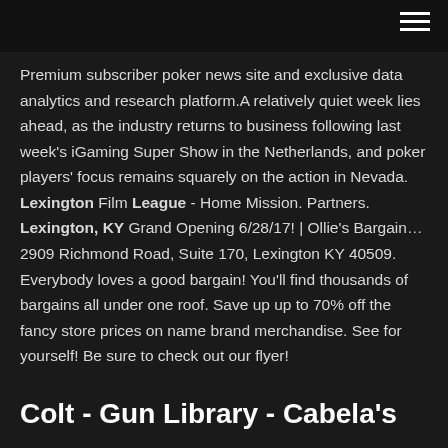Premium subscriber poker news site and exclusive data analytics and research platform.A relatively quiet week lies ahead, as the industry returns to business following last week's iGaming Super Show in the Netherlands, and poker players' focus remains squarely on the action in Nevada. Lexington Film League - Home Mission. Partners. Lexington, KY Grand Opening 6/28/17! | Ollie's Bargain… 2909 Richmond Road, Suite 170, Lexington KY 40509. Everybody loves a good bargain! You'll find thousands of bargains all under one roof. Save up up to 70% off the fancy store prices on name brand merchandise. See for yourself! Be sure to check out our flyer!
Colt - Gun Library - Cabela's